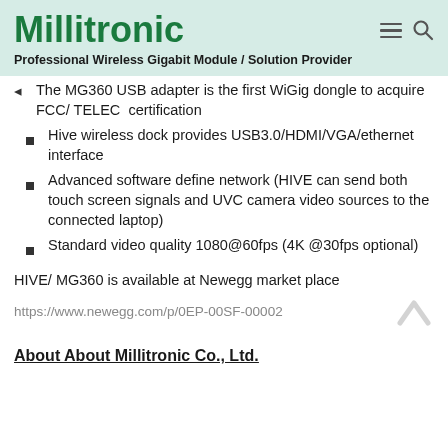Millitronic
Professional Wireless Gigabit Module / Solution Provider
The MG360 USB adapter is the first WiGig dongle to acquire FCC/ TELEC  certification
Hive wireless dock provides USB3.0/HDMI/VGA/ethernet interface
Advanced software define network (HIVE can send both touch screen signals and UVC camera video sources to the connected laptop)
Standard video quality 1080@60fps (4K @30fps optional)
HIVE/ MG360 is available at Newegg market place
https://www.newegg.com/p/0EP-00SF-00002
About About Millitronic Co., Ltd.